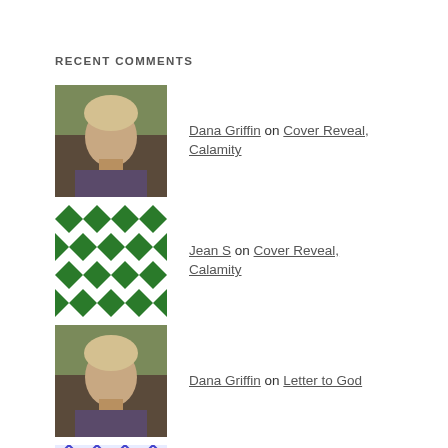RECENT COMMENTS
Dana Griffin on Cover Reveal, Calamity
Jean S on Cover Reveal, Calamity
Dana Griffin on Letter to God
Ted dunlap on Letter to God
Dana Griffin on Medically Disqualified
ARCHIVES